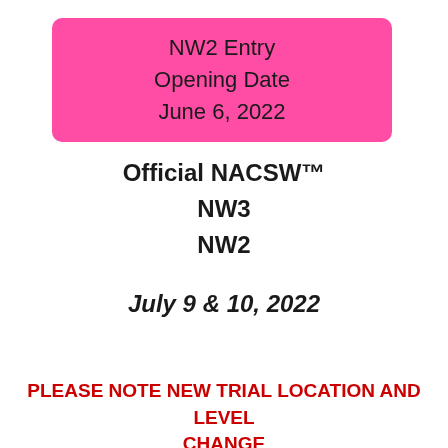NW2 Entry Opening Date June 6, 2022
Official NACSW™ NW3 NW2
July 9 & 10, 2022
PLEASE NOTE NEW TRIAL LOCATION AND LEVEL CHANGE